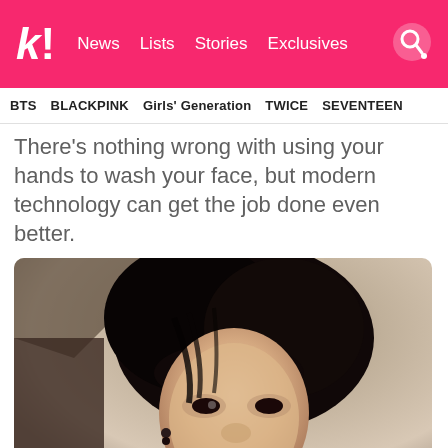k! News Lists Stories Exclusives
BTS  BLACKPINK  Girls' Generation  TWICE  SEVENTEEN
There's nothing wrong with using your hands to wash your face, but modern technology can get the job done even better.
[Figure (photo): Close-up selfie photo of a young Asian man with black hair, wearing a black outfit and earrings, resting his chin on his hand and looking at the camera with a slight smile.]